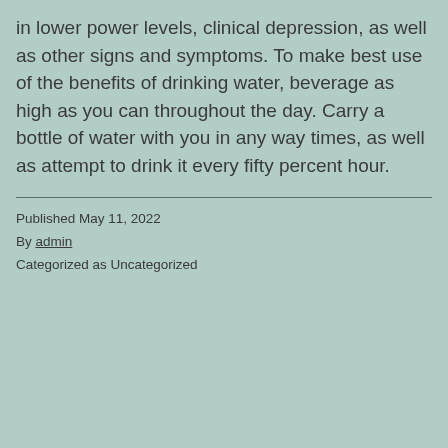in lower power levels, clinical depression, as well as other signs and symptoms. To make best use of the benefits of drinking water, beverage as high as you can throughout the day. Carry a bottle of water with you in any way times, as well as attempt to drink it every fifty percent hour.
Published May 11, 2022
By admin
Categorized as Uncategorized